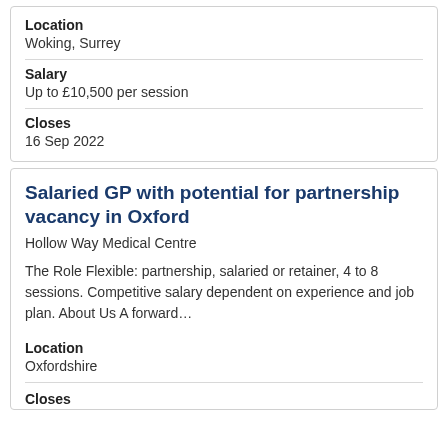Location
Woking, Surrey
Salary
Up to £10,500 per session
Closes
16 Sep 2022
Salaried GP with potential for partnership vacancy in Oxford
Hollow Way Medical Centre
The Role Flexible: partnership, salaried or retainer, 4 to 8 sessions. Competitive salary dependent on experience and job plan. About Us A forward…
Location
Oxfordshire
Closes